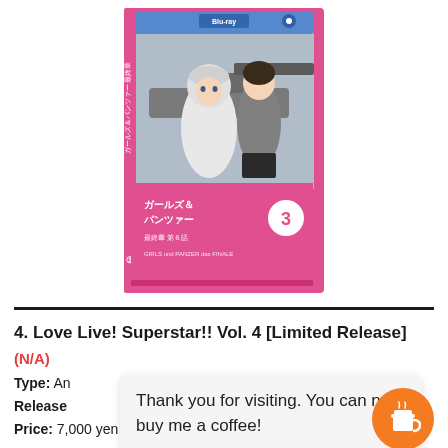[Figure (photo): Blu-ray disc case for Girls und Panzer Das Finale Vol. 3, showing two anime girls, one in a hoodie and one in a school uniform with a tank in the background, pink spine with Japanese text and number 3]
4. Love Live! Superstar!! Vol. 4 [Limited Release]
(N/A)
Type: An
Release
Price: 7,000 yen
Thank you for visiting. You can now buy me a coffee!